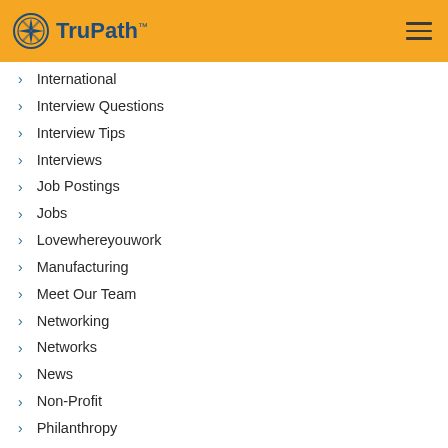TruPath
International
Interview Questions
Interview Tips
Interviews
Job Postings
Jobs
Lovewhereyouwork
Manufacturing
Meet Our Team
Networking
Networks
News
Non-Profit
Philanthropy